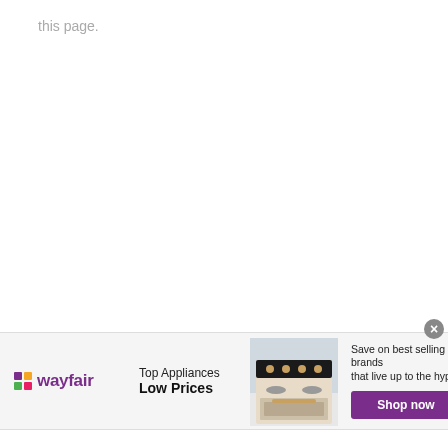this page.
[Figure (other): Wayfair advertisement banner. Shows Wayfair logo on the left, 'Top Appliances Low Prices' copy in the center-left, an image of a kitchen range/stove in the center, and 'Save on best selling brands that live up to the hype' with a purple 'Shop now' button on the right. A close button (X) appears in the top-right corner of the banner.]